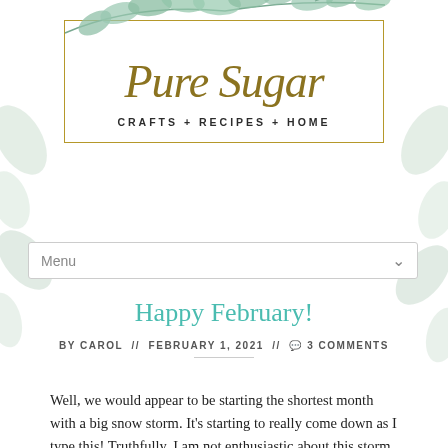[Figure (logo): Pure Sugar blog logo with gold script text, tagline 'CRAFTS + RECIPES + HOME', gold rectangle border, and decorative watercolor eucalyptus leaves with blue berries on top]
Menu
Happy February!
BY CAROL // FEBRUARY 1, 2021 // 💬 3 COMMENTS
Well, we would appear to be starting the shortest month with a big snow storm. It's starting to really come down as I type this! Truthfully, I am not enthusiastic about this storm. Jake is